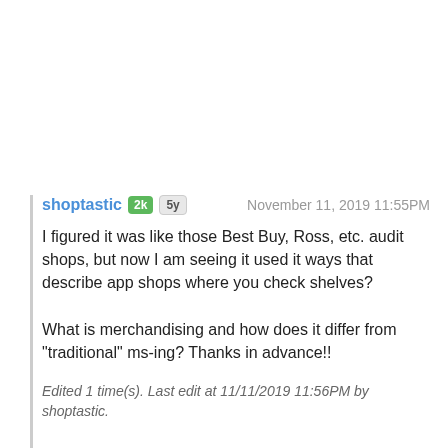shoptastic 2k 5y   November 11, 2019 11:55PM
I figured it was like those Best Buy, Ross, etc. audit shops, but now I am seeing it used it ways that describe app shops where you check shelves?

What is merchandising and how does it differ from "traditional" ms-ing? Thanks in advance!!
Edited 1 time(s). Last edit at 11/11/2019 11:56PM by shoptastic.